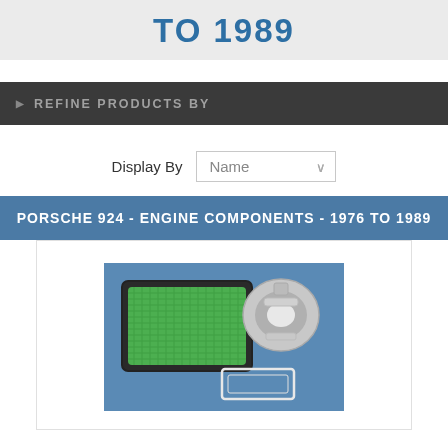TO 1989
▶ REFINE PRODUCTS BY
Display By   Name ∨
PORSCHE 924 - ENGINE COMPONENTS - 1976 TO 1989
[Figure (photo): Engine components photo showing a green rectangular air filter panel, a metal throttle body/carburetor component, and a rectangular gasket on a blue background]